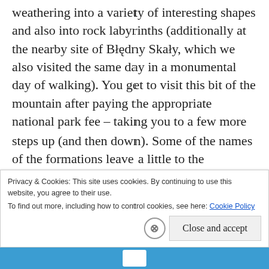weathering into a variety of interesting shapes and also into rock labyrinths (additionally at the nearby site of Błędny Skały, which we also visited the same day in a monumental day of walking). You get to visit this bit of the mountain after paying the appropriate national park fee – taking you to a few more steps up (and then down). Some of the names of the formations leave a little to the imagination and some are best left undescribed for reasons of not spoiling the (frequently breathtaking) surprise, but here's my version of probably the most photographed one – a rock formation that could barely better resemble a
Privacy & Cookies: This site uses cookies. By continuing to use this website, you agree to their use.
To find out more, including how to control cookies, see here: Cookie Policy
Close and accept